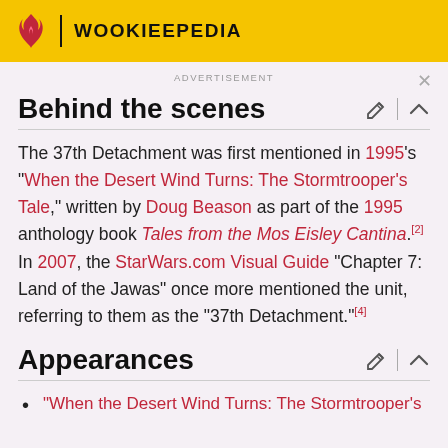WOOKIEEPEDIA
ADVERTISEMENT
Behind the scenes
The 37th Detachment was first mentioned in 1995's "When the Desert Wind Turns: The Stormtrooper's Tale," written by Doug Beason as part of the 1995 anthology book Tales from the Mos Eisley Cantina.[2] In 2007, the StarWars.com Visual Guide "Chapter 7: Land of the Jawas" once more mentioned the unit, referring to them as the "37th Detachment."[4]
Appearances
"When the Desert Wind Turns: The Stormtrooper's